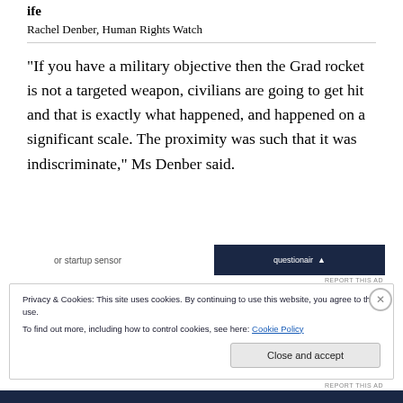ife
Rachel Denber, Human Rights Watch
“If you have a military objective then the Grad rocket is not a targeted weapon, civilians are going to get hit and that is exactly what happened, and happened on a significant scale. The proximity was such that it was indiscriminate,” Ms Denber said.
[Figure (screenshot): Partial advertisement banner with dark navy background showing partial text 'or startup sensor' on left and 'questionair' with icon on right]
REPORT THIS AD
Privacy & Cookies: This site uses cookies. By continuing to use this website, you agree to their use.
To find out more, including how to control cookies, see here: Cookie Policy
Close and accept